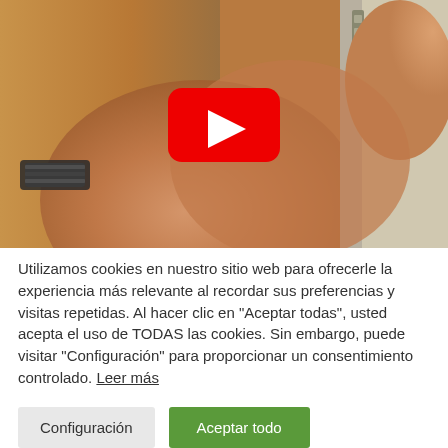[Figure (screenshot): Video thumbnail showing a man's hand with a wristwatch working on a door lock/hinge, with a red YouTube play button overlay in the center]
Utilizamos cookies en nuestro sitio web para ofrecerle la experiencia más relevante al recordar sus preferencias y visitas repetidas. Al hacer clic en "Aceptar todas", usted acepta el uso de TODAS las cookies. Sin embargo, puede visitar "Configuración" para proporcionar un consentimiento controlado. Leer más
Configuración
Aceptar todo